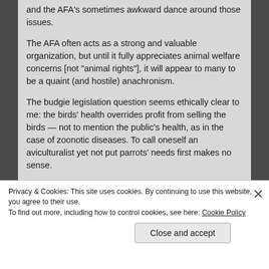and the AFA's sometimes awkward dance around those issues.
The AFA often acts as a strong and valuable organization, but until it fully appreciates animal welfare concerns [not "animal rights"], it will appear to many to be a quaint (and hostile) anachronism.
The budgie legislation question seems ethically clear to me: the birds' health overrides profit from selling the birds — not to mention the public's health, as in the case of zoonotic diseases. To call oneself an aviculturalist yet not put parrots' needs first makes no sense.
Your emphasis on the varied agendas of AFA
Privacy & Cookies: This site uses cookies. By continuing to use this website, you agree to their use.
To find out more, including how to control cookies, see here: Cookie Policy
Close and accept